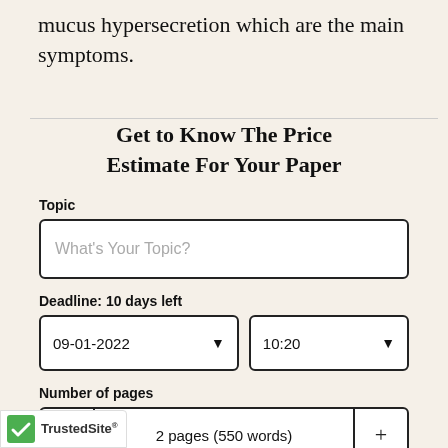mucus hypersecretion which are the main symptoms.
Get to Know The Price Estimate For Your Paper
Topic
What's Your Topic?
Deadline: 10 days left
09-01-2022
10:20
Number of pages
2 pages (550 words)
Email
Enter your email